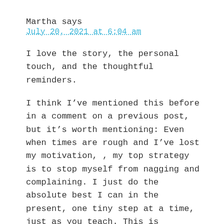Martha says
July 20, 2021 at 6:04 am
I love the story, the personal touch, and the thoughtful reminders.
I think I’ve mentioned this before in a comment on a previous post, but it’s worth mentioning: Even when times are rough and I’ve lost my motivation, , my top strategy is to stop myself from nagging and complaining. I just do the absolute best I can in the present, one tiny step at a time, just as you teach. This is probably the most important idea and strategy for living I’ve picked up from your course and coaching